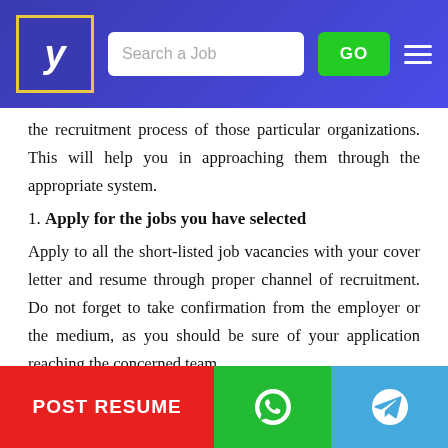[Figure (screenshot): Website header with logo (stylized Y in gold-bordered box), search bar with placeholder 'Search a Job', green GO button, and hamburger menu icon on blue/purple gradient background]
the recruitment process of those particular organizations. This will help you in approaching them through the appropriate system.
1. Apply for the jobs you have selected
Apply to all the short-listed job vacancies with your cover letter and resume through proper channel of recruitment. Do not forget to take confirmation from the employer or the medium, as you should be sure of your application reaching the concerned team.
1. Keep checking on the status
In case you do not receive any information within the stipulated time, feel free to follow up and personally follow the status of your application reaching the concerned team.
[Figure (screenshot): Bottom action bar with red 'POST RESUME' button, green WhatsApp icon button, and blue Telegram icon button]